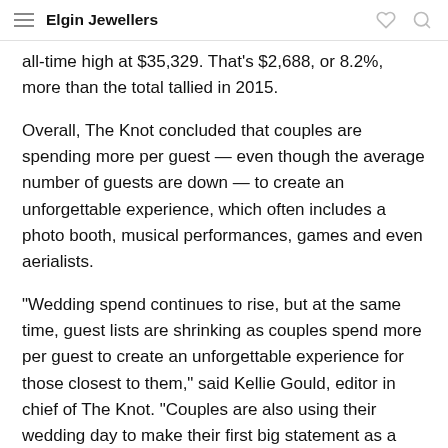Elgin Jewellers
all-time high at $35,329. That's $2,688, or 8.2%, more than the total tallied in 2015.
Overall, The Knot concluded that couples are spending more per guest — even though the average number of guests are down — to create an unforgettable experience, which often includes a photo booth, musical performances, games and even aerialists.
“Wedding spend continues to rise, but at the same time, guest lists are shrinking as couples spend more per guest to create an unforgettable experience for those closest to them,” said Kellie Gould, editor in chief of The Knot. “Couples are also using their wedding day to make their first big statement as a